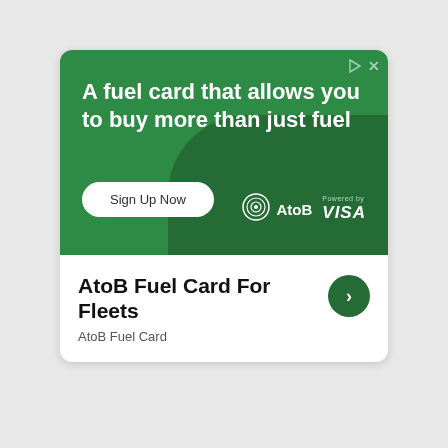[Figure (infographic): AtoB fuel card advertisement banner with green background, headline 'A fuel card that allows you to buy more than just fuel', a 'Sign Up Now' button, and AtoB + Visa logos]
AtoB Fuel Card For Fleets
AtoB Fuel Card